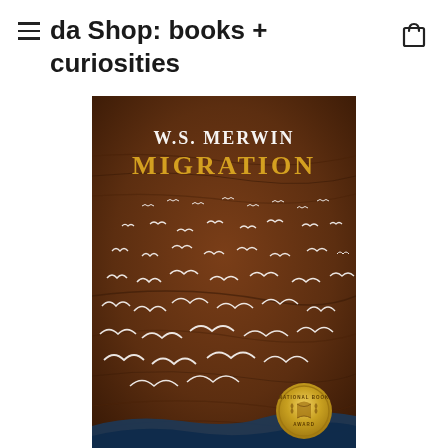da Shop: books + curiosities
[Figure (photo): Book cover of 'Migration' by W.S. Merwin. Brown textured background with white bird silhouettes in flight and gold National Book Award medal in bottom right corner. Author name 'W.S. MERWIN' in white text and title 'MIGRATION' in gold text.]